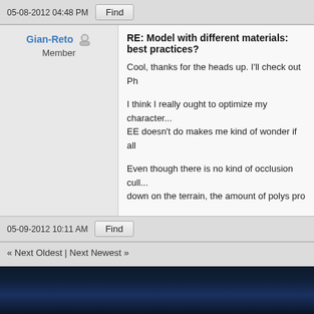05-08-2012 04:48 PM
Find
Gian-Reto Member
RE: Model with different materials: best practices?
Cool, thanks for the heads up. I'll check out Ph

I think I really ought to optimize my character... EE doesn't do makes me kind of wonder if all

Even though there is no kind of occlusion cull... down on the terrain, the amount of polys pro

Also, another stupid question, but as i haven't

Is it okay to have differnt object / material cou... about changing the animations (less bones)? W
05-09-2012 10:11 AM
Find
« Next Oldest | Next Newest »
New Reply
Subscribe to this thread